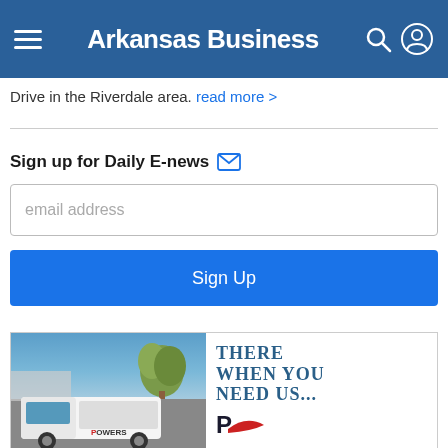Arkansas Business
Drive in the Riverdale area. read more >
Sign up for Daily E-news
[Figure (screenshot): Email input field with placeholder 'email address']
[Figure (screenshot): Blue 'Sign Up' button]
[Figure (advertisement): Powers ad with truck photo on left and 'There When You Need Us...' text on right with Powers logo]